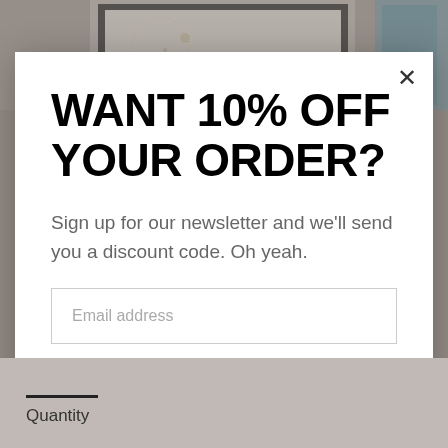[Figure (screenshot): Background product page screenshot showing framed art print and blue mason jar on a gray website page.]
WANT 10% OFF YOUR ORDER?
Sign up for our newsletter and we'll send you a discount code. Oh yeah.
Email address
Yes, I like my money.
Quantity